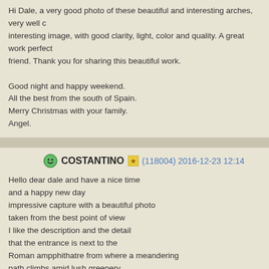Hi Dale, a very good photo of these beautiful and interesting arches, very well c interesting image, with good clarity, light, color and quality. A great work perfect friend. Thank you for sharing this beautiful work.

Good night and happy weekend.
All the best from the south of Spain.
Merry Christmas with your family.
Angel.
COSTANTINO (118004) 2016-12-23 12:14
Hello dear dale and have a nice time
and a happy new day
impressive capture with a beautiful photo
taken from the best point of view
I like the description and the detail
that the entrance is next to the
Roman ampphithatre from where a meandering
path climbs amid lush greenery
welldone
regards
Costantino
carlo62 (81265) 2016-12-23 14:52
Ciao Dale
attimo tornismo la donna è perfettamente incarnicisinta tra la colonne crasdif